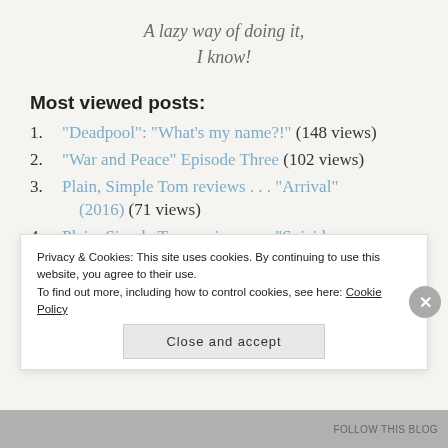A lazy way of doing it, I know!
Most viewed posts:
1. “Deadpool”: “What’s my name?!” (148 views)
2. “War and Peace” Episode Three (102 views)
3. Plain, Simple Tom reviews . . . “Arrival” (2016) (71 views)
4. Plain, Simple Tom reviews . . . “Suicide
Privacy & Cookies: This site uses cookies. By continuing to use this website, you agree to their use.
To find out more, including how to control cookies, see here: Cookie Policy
Close and accept